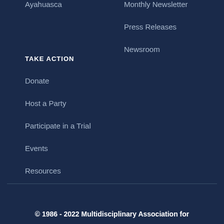Ayahuasca
Monthly Newsletter
Press Releases
Newsroom
TAKE ACTION
Donate
Host a Party
Participate in a Trial
Events
Resources
© 1986 - 2022 Multidisciplinary Association for